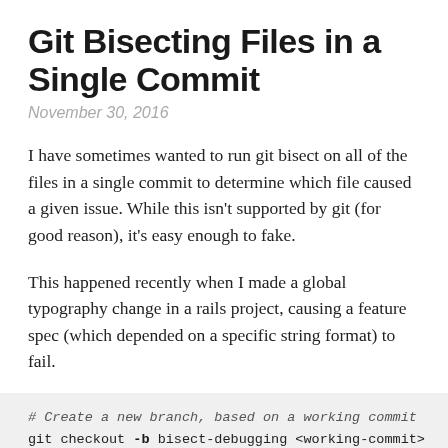Git Bisecting Files in a Single Commit
November 30, 2016
I have sometimes wanted to run git bisect on all of the files in a single commit to determine which file caused a given issue. While this isn't supported by git (for good reason), it's easy enough to fake.
This happened recently when I made a global typography change in a rails project, causing a feature spec (which depended on a specific string format) to fail.
# Create a new branch, based on a working commit
git checkout -b bisect-debugging <working-commit>
# Apply the changes from the broken commit
git cherry-pick <broken-commit> --no-commit
# Next line cut off...